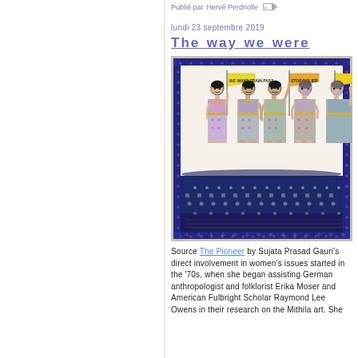Publié par Hervé Perdriolle
lundi 23 septembre 2019
The way we were
[Figure (illustration): Mithila art painting showing a group of women in traditional Indian dress holding protest banners including 'We want TRAIN PASS' and 'STOP DOLIER', rendered in folk art style with pink, grey and white tones on a dark blue bordered background]
Source The Pioneer by Sujata Prasad Gauri's direct involvement in women's issues started in the '70s, when she began assisting German anthropologist and folklorist Erika Moser and American Fulbright Scholar Raymond Lee Owens in their research on the Mithila art. She